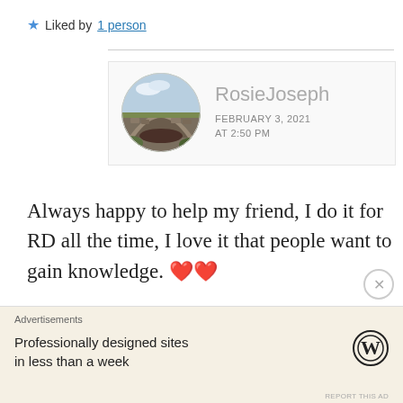★ Liked by 1 person
[Figure (photo): Circular avatar photo of a stone bridge over water with green moss, used as commenter profile picture for RosieJoseph]
RosieJoseph
FEBRUARY 3, 2021 AT 2:50 PM
Always happy to help my friend, I do it for RD all the time, I love it that people want to gain knowledge. ❤️❤️
Advertisements
Professionally designed sites in less than a week